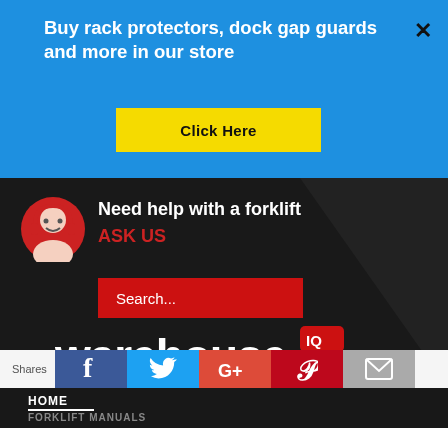Buy rack protectors, dock gap guards and more in our store
Click Here
Need help with a forklift
ASK US
Search...
[Figure (logo): warehouseIQ logo with tagline DISTRIBUTE KNOWLEDGE]
HOME
FORKLIFT MANUALS
Shares
[Figure (infographic): Social share buttons: Facebook, Twitter, Google+, Pinterest, Email]